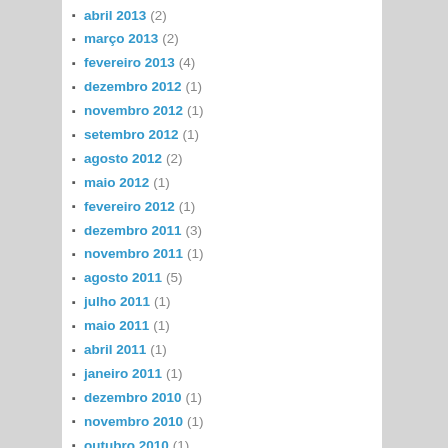abril 2013 (2)
março 2013 (2)
fevereiro 2013 (4)
dezembro 2012 (1)
novembro 2012 (1)
setembro 2012 (1)
agosto 2012 (2)
maio 2012 (1)
fevereiro 2012 (1)
dezembro 2011 (3)
novembro 2011 (1)
agosto 2011 (5)
julho 2011 (1)
maio 2011 (1)
abril 2011 (1)
janeiro 2011 (1)
dezembro 2010 (1)
novembro 2010 (1)
outubro 2010 (1)
agosto 2010 (3)
julho 2010 (3)
maio 2010 (1)